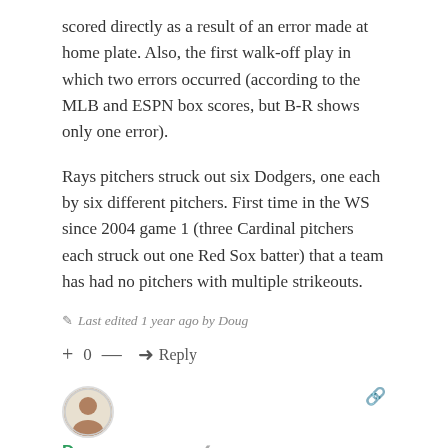scored directly as a result of an error made at home plate. Also, the first walk-off play in which two errors occurred (according to the MLB and ESPN box scores, but B-R shows only one error).
Rays pitchers struck out six Dodgers, one each by six different pitchers. First time in the WS since 2004 game 1 (three Cardinal pitchers each struck out one Red Sox batter) that a team has had no pitchers with multiple strikeouts.
✎ Last edited 1 year ago by Doug
+ 0 — ➜ Reply
[Figure (photo): User avatar photo of Doug, circular profile picture]
Doug   ⊙ 1 year ago   < share    🔗
The Rays in game 4 used 3 players at both 1B and 3B, tying the WS record for both positions, and becoming the first team to do both in the same WS.